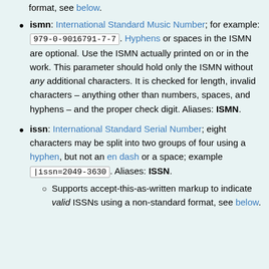format, see below.
ismn: International Standard Music Number; for example: 979-0-9016791-7-7. Hyphens or spaces in the ISMN are optional. Use the ISMN actually printed on or in the work. This parameter should hold only the ISMN without any additional characters. It is checked for length, invalid characters – anything other than numbers, spaces, and hyphens – and the proper check digit. Aliases: ISMN.
issn: International Standard Serial Number; eight characters may be split into two groups of four using a hyphen, but not an en dash or a space; example |issn=2049-3630. Aliases: ISSN.
Supports accept-this-as-written markup to indicate valid ISSNs using a non-standard format, see below.